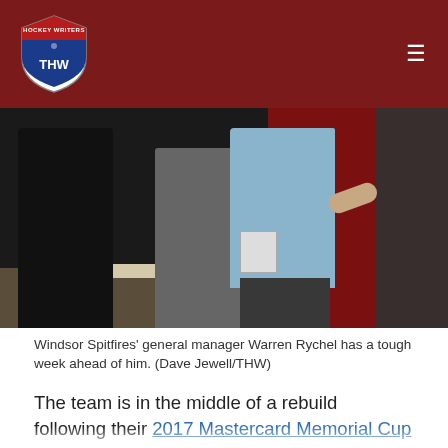THW (The Hockey Writers) logo and navigation
[Figure (photo): Windsor Spitfires general manager Warren Rychel standing at a press conference backdrop with other people around him]
Windsor Spitfires’ general manager Warren Rychel has a tough week ahead of him. (Dave Jewell/THW)
The team is in the middle of a rebuild following their 2017 Mastercard Memorial Cup win. Finding the right combination of youth and veterans isn’t an easy task and if a youngster doesn’t fit, they won’t necessarily stick around.
On Tuesday, Rychel pulled off a tough deal involving a young forward known as...